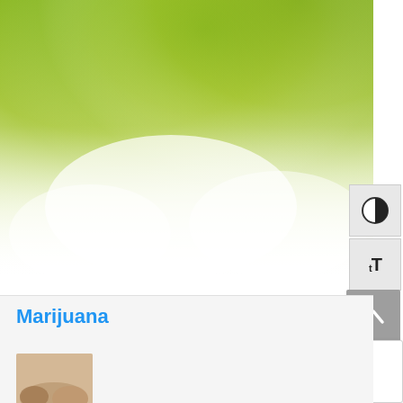[Figure (illustration): Watercolor style green gradient background fading from olive/yellow-green at the top to white in the lower middle area, suggesting foliage or nature background.]
[Figure (screenshot): UI overlay buttons: a contrast toggle button (half-black/half-white circle icon) and a text size button (tT icon), both on light gray square backgrounds on the right side.]
[Figure (screenshot): Gray scroll-to-top button with upward chevron arrow on the right side.]
[Figure (screenshot): Google reCAPTCHA badge with blue/red/grey arrow logo and 'Privacy - Terms' text at bottom right.]
Marijuana
[Figure (photo): Partially visible photo at the bottom left, appears to show a person, cropped by the page edge.]